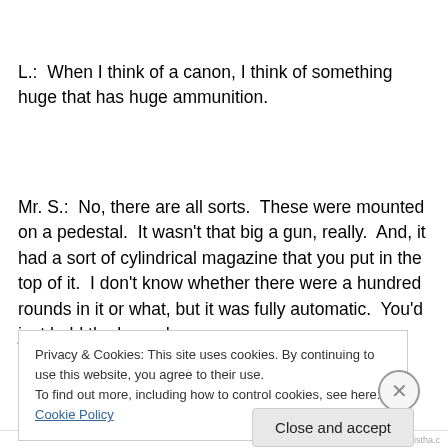L.:  When I think of a canon, I think of something huge that has huge ammunition.
Mr. S.:  No, there are all sorts.  These were mounted on a pedestal.  It wasn't that big a gun, really.  And, it had a sort of cylindrical magazine that you put in the top of it.  I don't know whether there were a hundred rounds in it or what, but it was fully automatic.  You'd just hold the lever down
Privacy & Cookies: This site uses cookies. By continuing to use this website, you agree to their use.
To find out more, including how to control cookies, see here: Cookie Policy
Close and accept